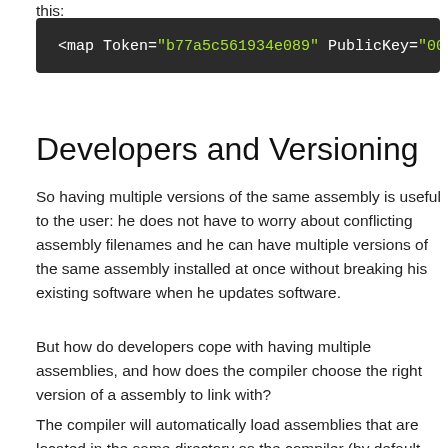this:
[Figure (screenshot): Dark code block showing XML-like markup: <map Token="b77a5c561934e089" PublicKey="002]
Developers and Versioning
So having multiple versions of the same assembly is useful to the user: he does not have to worry about conflicting assembly filenames and he can have multiple versions of the same assembly installed at once without breaking his existing software when he updates software.
But how do developers cope with having multiple assemblies, and how does the compiler choose the right version of a assembly to link with?
The compiler will automatically load assemblies that are located in the same directory as the compiler (by default /usr/lib/mono/1.0) and those include all the assemblies that